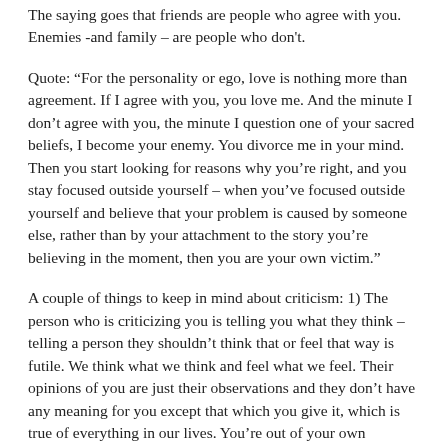The saying goes that friends are people who agree with you. Enemies -and family – are people who don't.
Quote: “For the personality or ego, love is nothing more than agreement. If I agree with you, you love me. And the minute I don’t agree with you, the minute I question one of your sacred beliefs, I become your enemy. You divorce me in your mind. Then you start looking for reasons why you’re right, and you stay focused outside yourself – when you’ve focused outside yourself and believe that your problem is caused by someone else, rather than by your attachment to the story you’re believing in the moment, then you are your own victim.”
A couple of things to keep in mind about criticism: 1) The person who is criticizing you is telling you what they think – telling a person they shouldn’t think that or feel that way is futile. We think what we think and feel what we feel. Their opinions of you are just their observations and they don’t have any meaning for you except that which you give it, which is true of everything in our lives. You’re out of your own business when you worry about what others think of you. If you live your life and let people form whatever impression they want about you, without your engineering– and that’s what they’re doing